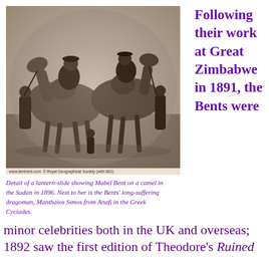[Figure (photo): Black and white photograph (lantern-slide) showing Mabel Bent riding a camel in Sudan in 1896, with other figures and camels around her. Credit: www.tambent.com © Royal Geographical Society (with IBG)]
Detail of a lantern-slide showing Mabel Bent on a camel in the Sudan in 1896. Next to her is the Bents' long-suffering dragoman, Manthaios Simos from Anafi in the Greek Cyclades.
Following their work at Great Zimbabwe in 1891, the Bents were minor celebrities both in the UK and overseas; 1892 saw the first edition of Theodore's Ruined